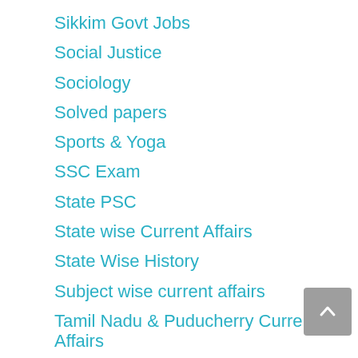Sikkim Govt Jobs
Social Justice
Sociology
Solved papers
Sports & Yoga
SSC Exam
State PSC
State wise Current Affairs
State Wise History
Subject wise current affairs
Tamil Nadu & Puducherry Current Affairs
Tamil Nadu & Puducherry GK
Tamilnadu Govt Jobs
Telangana Current Affairs
Telangana GK